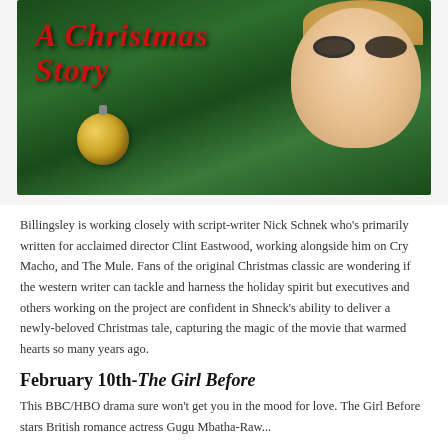[Figure (photo): Movie poster image for 'A Christmas Story' showing a boy with glasses and blonde hair smiling amid Christmas tree branches, with the movie title in red letters and a gold ornament in the foreground]
Billingsley is working closely with script-writer Nick Schnek who's primarily written for acclaimed director Clint Eastwood, working alongside him on Cry Macho, and The Mule. Fans of the original Christmas classic are wondering if the western writer can tackle and harness the holiday spirit but executives and others working on the project are confident in Shneck's ability to deliver a newly-beloved Christmas tale, capturing the magic of the movie that warmed hearts so many years ago.
February 10th-The Girl Before
This BBC/HBO drama sure won't get you in the mood for love. The Girl Before stars British romance actress Gugu Mbatha-Raw...